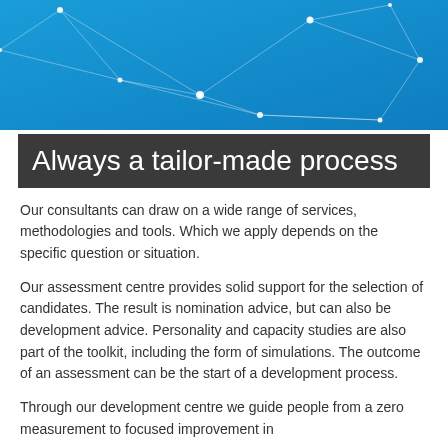[Figure (illustration): Blue header background with network/constellation pattern of connected white dots and lines]
Always a tailor-made process
Our consultants can draw on a wide range of services, methodologies and tools. Which we apply depends on the specific question or situation.
Our assessment centre provides solid support for the selection of candidates. The result is nomination advice, but can also be development advice. Personality and capacity studies are also part of the toolkit, including the form of simulations. The outcome of an assessment can be the start of a development process.
Through our development centre we guide people from a zero measurement to focused improvement in